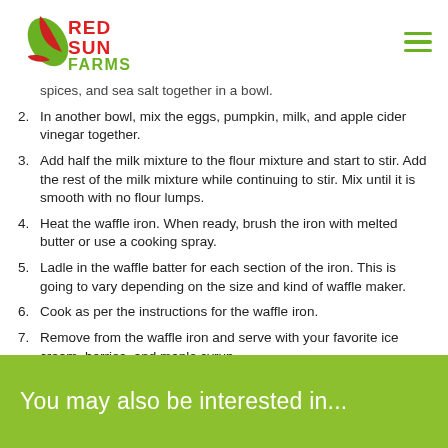Red Sun Farms
spices, and sea salt together in a bowl.
2. In another bowl, mix the eggs, pumpkin, milk, and apple cider vinegar together.
3. Add half the milk mixture to the flour mixture and start to stir. Add the rest of the milk mixture while continuing to stir. Mix until it is smooth with no flour lumps.
4. Heat the waffle iron. When ready, brush the iron with melted butter or use a cooking spray.
5. Ladle in the waffle batter for each section of the iron. This is going to vary depending on the size and kind of waffle maker.
6. Cook as per the instructions for the waffle iron.
7. Remove from the waffle iron and serve with your favorite ice cream, berries, and maple syrup.
You may also be interested in...